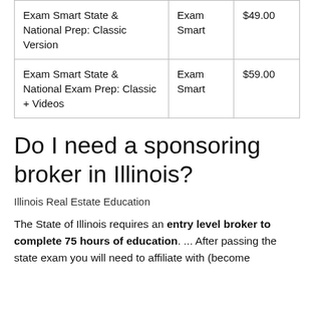| Exam Smart State & National Prep: Classic Version | Exam Smart | $49.00 |
| Exam Smart State & National Exam Prep: Classic + Videos | Exam Smart | $59.00 |
Do I need a sponsoring broker in Illinois?
Illinois Real Estate Education
The State of Illinois requires an entry level broker to complete 75 hours of education. ... After passing the state exam you will need to affiliate with (become